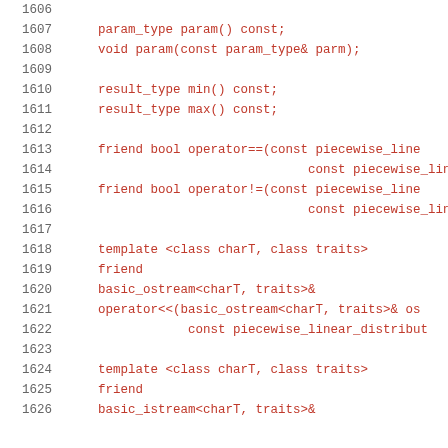Code listing lines 1606-1626 showing C++ piecewise_linear_distribution class member declarations including param(), min(), max(), operator==, operator!=, and stream operator templates.